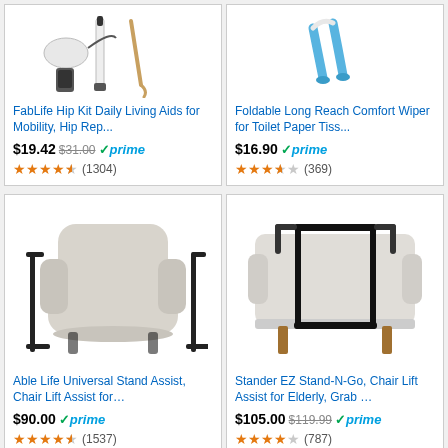[Figure (photo): FabLife Hip Kit product image showing white medical mobility aids including a grabber and dressing stick]
FabLife Hip Kit Daily Living Aids for Mobility, Hip Rep...
$19.42  $31.00  prime  (1304) 4.5 stars
[Figure (photo): Foldable Long Reach Comfort Wiper product image showing blue-handled toilet paper aid]
Foldable Long Reach Comfort Wiper for Toilet Paper Tiss...
$16.90  prime  (369) 4 stars
[Figure (photo): Able Life Universal Stand Assist product image showing a beige armchair with black metal side supports]
Able Life Universal Stand Assist, Chair Lift Assist for...
$90.00  prime  (1537) 4.5 stars
[Figure (photo): Stander EZ Stand-N-Go product image showing a white sofa with black metal grab bar frame]
Stander EZ Stand-N-Go, Chair Lift Assist for Elderly, Grab ...
$105.00  $119.99  prime  (787) 4 stars
Daily Living Aids